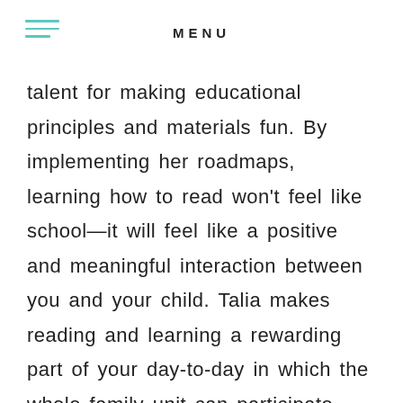MENU
talent for making educational principles and materials fun. By implementing her roadmaps, learning how to read won't feel like school—it will feel like a positive and meaningful interaction between you and your child. Talia makes reading and learning a rewarding part of your day-to-day in which the whole family unit can participate.